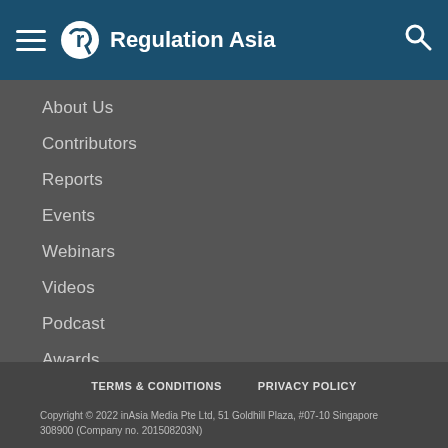Regulation Asia
About Us
Contributors
Reports
Events
Webinars
Videos
Podcast
Awards
Advertising
Subscriptions
Contact Us
TERMS & CONDITIONS    PRIVACY POLICY
Copyright © 2022 inAsia Media Pte Ltd, 51 Goldhill Plaza, #07-10 Singapore 308900 (Company no. 201508203N)